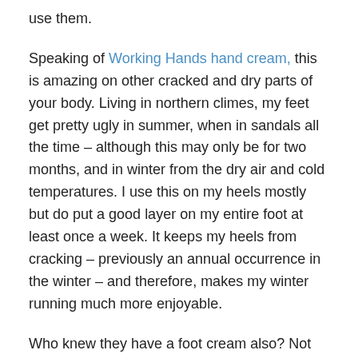use them.
Speaking of Working Hands hand cream, this is amazing on other cracked and dry parts of your body. Living in northern climes, my feet get pretty ugly in summer, when in sandals all the time – although this may only be for two months, and in winter from the dry air and cold temperatures. I use this on my heels mostly but do put a good layer on my entire foot at least once a week. It keeps my heels from cracking – previously an annual occurrence in the winter – and therefore, makes my winter running much more enjoyable.
Who knew they have a foot cream also? Not me but one container only is my rule so I'll keep using Working Hands.